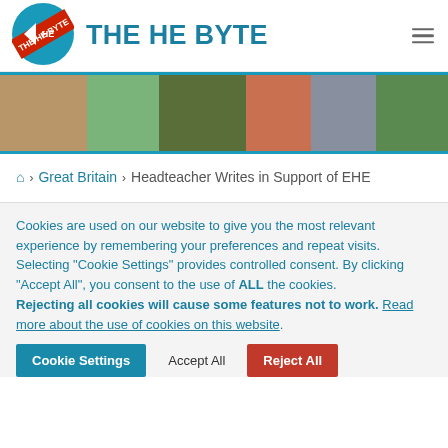[Figure (logo): THE HE BYTE circular logo with red diagonal band and teal background]
THE HE BYTE
[Figure (photo): Banner strip with multiple photos of children doing educational activities]
🏠 > Great Britain > Headteacher Writes in Support of EHE
Cookies are used on our website to give you the most relevant experience by remembering your preferences and repeat visits.
Selecting "Cookie Settings" provides controlled consent. By clicking "Accept All", you consent to the use of ALL the cookies.
Rejecting all cookies will cause some features not to work. Read more about the use of cookies on this website.
Cookie Settings | Accept All | Reject All